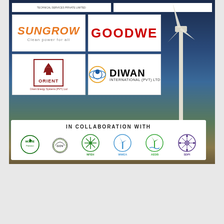[Figure (logo): Sungrow logo with tagline 'Clean power for all']
[Figure (logo): GoodWe logo in red bold text]
[Figure (logo): Orient Energy Systems (PVT.) Ltd logo with red emblem]
[Figure (logo): Diwan International (PVT) Ltd logo with eye/globe icon]
[Figure (infographic): IN COLLABORATION WITH banner showing logos: AEDB, Ministry logo, NFEH, WWEA, AEDB wind, SDPI]
IN COLLABORATION WITH